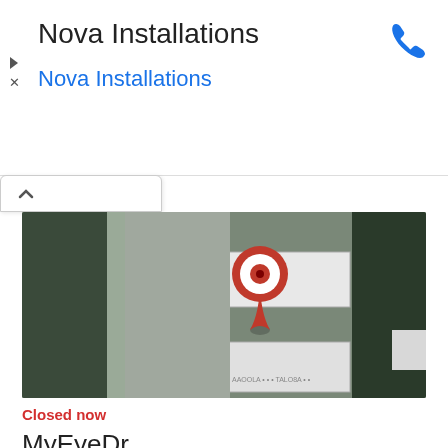Nova Installations
Nova Installations
[Figure (map): Satellite/aerial map view with a red location pin marker over a commercial building area in Woodstock, GA]
Closed now
MyEyeDr.
Establishment   Health
12924 Georgia 92 Suite 100, Woodstock, GA 30188